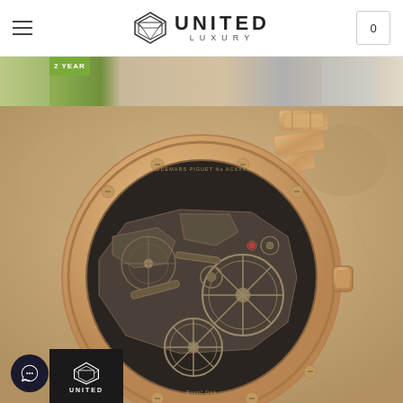UNITED LUXURY
[Figure (photo): United Luxury website header with hamburger menu, diamond logo, UNITED LUXURY brand name, and cart icon showing 0]
[Figure (photo): Banner strip showing partial promotional images with 2 YEAR badge in green]
[Figure (photo): Close-up photograph of the back of a rose gold luxury watch (Audemars Piguet Royal Oak Skeleton) showing the transparent caseback with intricate mechanical movement including gears, bridges, and decorative elements. Rose gold bracelet visible at top.]
[Figure (logo): United Luxury small logo badge with diamond icon and UNITED text on black background, bottom left corner]